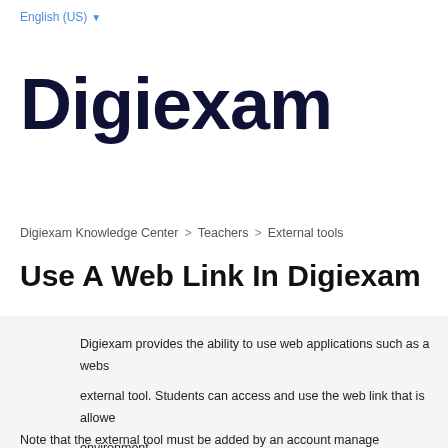English (US) ▼
Digiexam
Digiexam Knowledge Center > Teachers > External tools
Use A Web Link In Digiexam
Digiexam provides the ability to use web applications such as a webs external tool. Students can access and use the web link that is allowed environment.
Note that the external tool must be added by an account manage